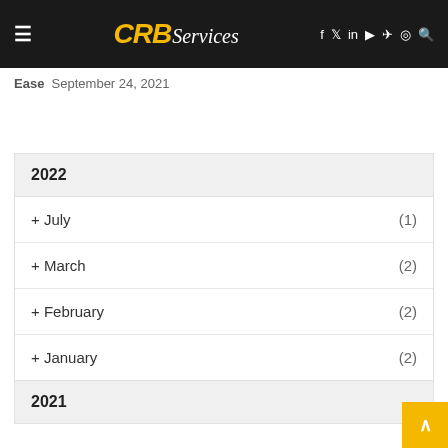CRB Services — navigation header with hamburger menu, logo, social icons
Ease  September 24, 2021
2022
+ July (1)
+ March (2)
+ February (2)
+ January (2)
2021